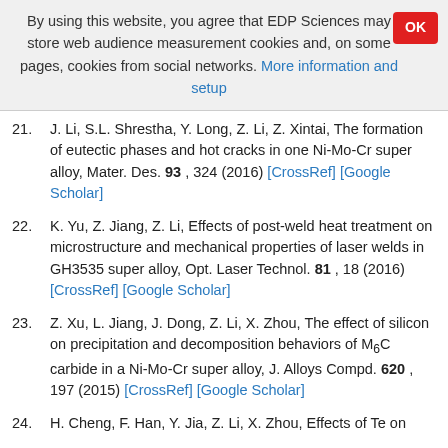By using this website, you agree that EDP Sciences may store web audience measurement cookies and, on some pages, cookies from social networks. More information and setup
21. J. Li, S.L. Shrestha, Y. Long, Z. Li, Z. Xintai, The formation of eutectic phases and hot cracks in one Ni-Mo-Cr super alloy, Mater. Des. 93 , 324 (2016) [CrossRef] [Google Scholar]
22. K. Yu, Z. Jiang, Z. Li, Effects of post-weld heat treatment on microstructure and mechanical properties of laser welds in GH3535 super alloy, Opt. Laser Technol. 81 , 18 (2016) [CrossRef] [Google Scholar]
23. Z. Xu, L. Jiang, J. Dong, Z. Li, X. Zhou, The effect of silicon on precipitation and decomposition behaviors of M6C carbide in a Ni-Mo-Cr super alloy, J. Alloys Compd. 620 , 197 (2015) [CrossRef] [Google Scholar]
24. H. Cheng, F. Han, Y. Jia, Z. Li, X. Zhou, Effects of Te on